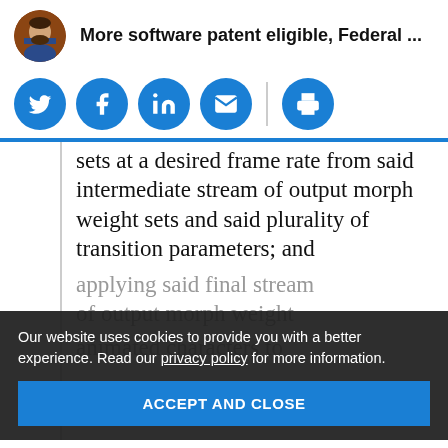More software patent eligible, Federal ...
[Figure (infographic): Social sharing buttons row: Twitter, Facebook, LinkedIn, Email, Print]
sets at a desired frame rate from said intermediate stream of output morph weight sets and said plurality of transition parameters; and
applying said final stream of output morph weight
animated characters to
Our website uses cookies to provide you with a better experience. Read our privacy policy for more information.
ACCEPT AND CLOSE